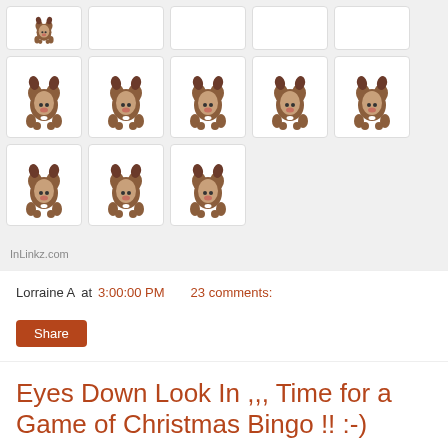[Figure (photo): Grid of dog (Boston Terrier puppy) embroidery/illustration thumbnail images arranged in 3 rows of 5, 5, and 3 cards on a light gray background]
InLinkz.com
Lorraine A at 3:00:00 PM   23 comments:
Share
Eyes Down Look In ,,, Time for a Game of Christmas Bingo !! :-)